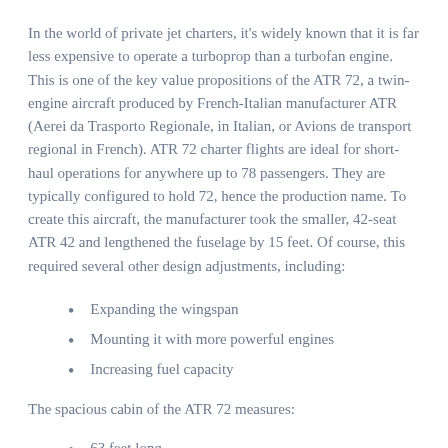In the world of private jet charters, it's widely known that it is far less expensive to operate a turboprop than a turbofan engine. This is one of the key value propositions of the ATR 72, a twin-engine aircraft produced by French-Italian manufacturer ATR (Aerei da Trasporto Regionale, in Italian, or Avions de transport regional in French). ATR 72 charter flights are ideal for short-haul operations for anywhere up to 78 passengers. They are typically configured to hold 72, hence the production name. To create this aircraft, the manufacturer took the smaller, 42-seat ATR 42 and lengthened the fuselage by 15 feet. Of course, this required several other design adjustments, including:
Expanding the wingspan
Mounting it with more powerful engines
Increasing fuel capacity
The spacious cabin of the ATR 72 measures:
63 feet long
8.43 feet wide
6.23 feet tall